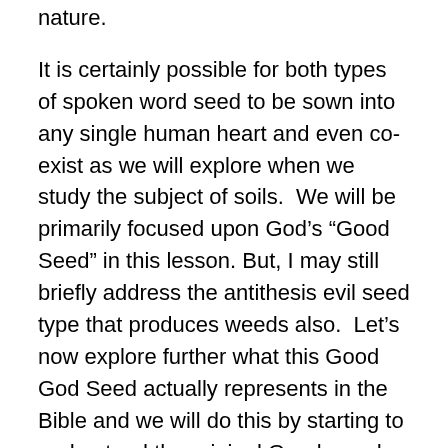nature.
It is certainly possible for both types of spoken word seed to be sown into any single human heart and even co-exist as we will explore when we study the subject of soils.  We will be primarily focused upon God’s “Good Seed” in this lesson. But, I may still briefly address the antithesis evil seed type that produces weeds also.  Let’s now explore further what this Good God Seed actually represents in the Bible and we will do this by starting to understand the original Greek words related to the Parable message of sowing.
Mark 4:14 stated very clearly that the symbolic seed type found in the Parable of the Sower represents the “word”.  This Greek word translated as “word” is G3056.  This Greek word is included in every explanation of the Parable of the Sower in Matthew 13, Mark 4 and Luke 8.